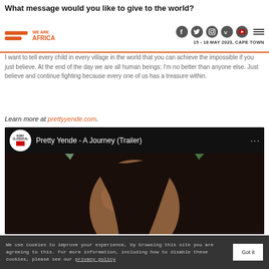What message would you like to give to the world?
I want to tell every child in every village in the world that you can achieve the impossible if you just believe. At the end of the day we are all human beings; I'm no better than anyone else. Just believe and continue fighting because every one of us has a treasure within.
Learn more at prettyyende.com.
[Figure (screenshot): YouTube video embed showing Sony Classical logo and title 'Pretty Yende - A Journey (Trailer)' with a thumbnail of a woman's face]
We use cookies to improve your experience, by browsing this site you are agreeing to this. For more information, including how to disable these cookies, please see our privacy policy